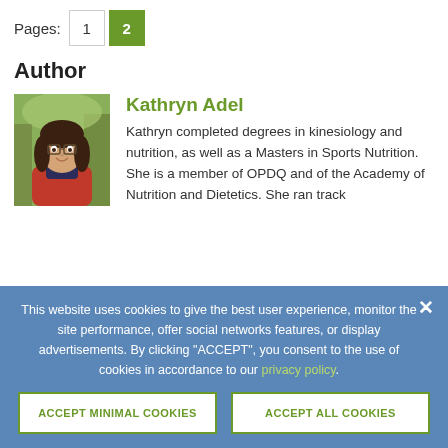Pages: 1 2
Author
[Figure (photo): Portrait photo of Kathryn Adel, a woman with dark hair, smiling, wearing a red cardigan, standing outdoors in front of trees.]
Kathryn Adel
Kathryn completed degrees in kinesiology and nutrition, as well as a Masters in Sports Nutrition. She is a member of OPDQ and of the Academy of Nutrition and Dietetics. She ran track
This website uses cookies to give the best user experience, monitor the site performance, offer social networks features, or display advertisements. By clicking "ACCEPT", you consent to the use of cookies in accordance to our privacy policy.
ACCEPT MINIMAL COOKIES
ACCEPT ALL COOKIES